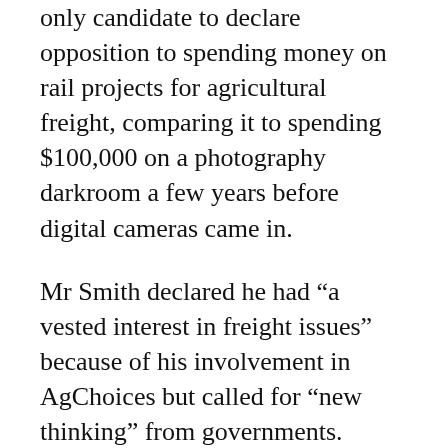only candidate to declare opposition to spending money on rail projects for agricultural freight, comparing it to spending $100,000 on a photography darkroom a few years before digital cameras came in.
Mr Smith declared he had “a vested interest in freight issues” because of his involvement in AgChoices but called for “new thinking” from governments.
“Any organisation that is investing millions of dollars in saleyards should be sued by their shareholders or ratepayers.”